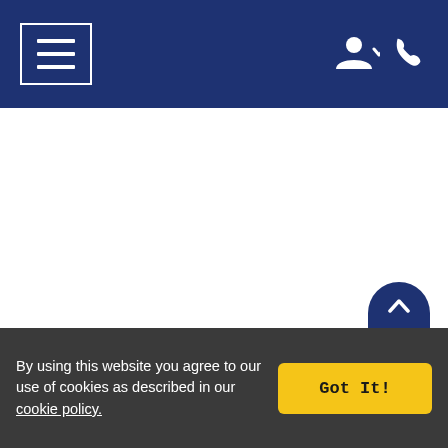[Figure (screenshot): Dark navy blue navigation bar with hamburger menu icon on left (three horizontal white lines in a white rectangle border) and user account icon with dropdown arrow and phone icon on the right]
By using this website you agree to our use of cookies as described in our cookie policy.
[Figure (other): Yellow 'Got It!' button for cookie consent]